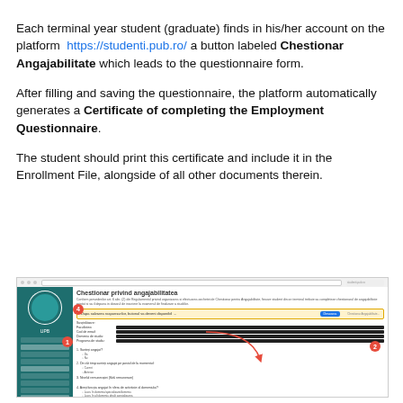Each terminal year student (graduate) finds in his/her account on the platform https://studenti.pub.ro/ a button labeled Chestionar Angajabilitate which leads to the questionnaire form.
After filling and saving the questionnaire, the platform automatically generates a Certificate of completing the Employment Questionnaire.
The student should print this certificate and include it in the Enrollment File, alongside of all other documents therein.
[Figure (screenshot): Screenshot of the Chestionar privind angajabilitatea (Employability Questionnaire) web platform page, showing the form with numbered callouts: 1 pointing to the sidebar, 2 pointing to the form area, 3 pointing to the save button, 4 pointing to a highlighted bar reading 'Dupa salvarea raspunsurilor, butonul va deveni disponibil' with a blue button.]